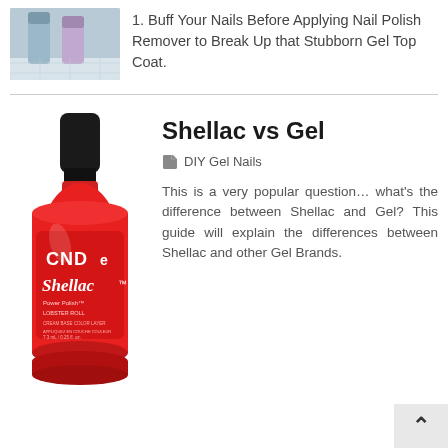[Figure (photo): Photo of nail polish bottles on a tiled surface]
1. Buff Your Nails Before Applying Nail Polish Remover to Break Up that Stubborn Gel Top Coat.
[Figure (photo): Red CND Shellac nail polish bottle]
Shellac vs Gel
DIY Gel Nails
This is a very popular question… what's the difference between Shellac and Gel? This guide will explain the differences between Shellac and other Gel Brands.